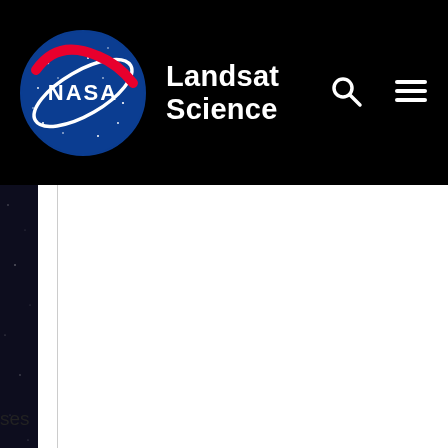NASA Landsat Science
[Figure (screenshot): NASA Landsat Science website header with NASA meatball logo on the left, site title 'Landsat Science' in white text, search icon and hamburger menu icon on the right, all on a black background]
[Figure (photo): Dark space/satellite image strip on the left side of the page below the header navigation bar]
ses